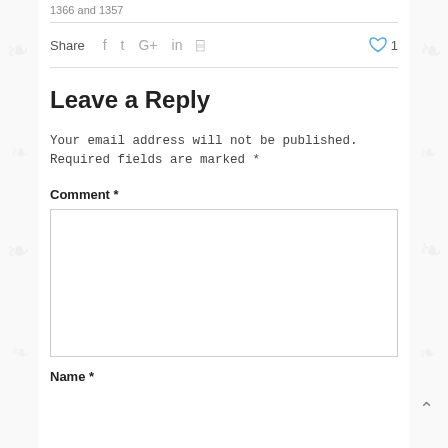1366 and 1357
Share  f  t  G+  in  p  ♡ 1
Leave a Reply
Your email address will not be published. Required fields are marked *
Comment *
Name *